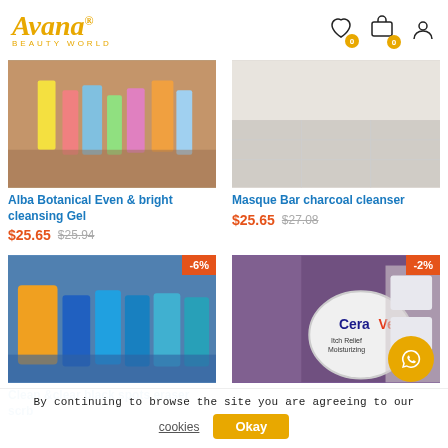Avana Beauty World
[Figure (photo): Alba Botanical product image showing beauty products on shelf]
Alba Botanical Even & bright cleansing Gel
$25.65 $25.94
[Figure (photo): Masque Bar charcoal cleanser product image]
Masque Bar charcoal cleanser
$25.65 $27.08
[Figure (photo): Clean &clear black spots eraser scrub products on shelf, -6% badge]
Clean &clear black spots eraser scrb
[Figure (photo): CeraVe Itch Relief Moisturizing product held in hand, -2% badge]
By continuing to browse the site you are agreeing to our cookies
Okay